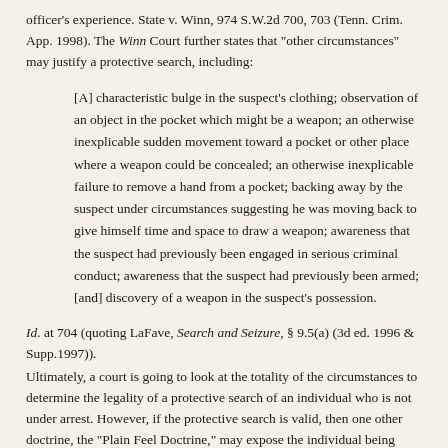officer's experience. State v. Winn, 974 S.W.2d 700, 703 (Tenn. Crim. App. 1998). The Winn Court further states that "other circumstances" may justify a protective search, including:
[A] characteristic bulge in the suspect's clothing; observation of an object in the pocket which might be a weapon; an otherwise inexplicable sudden movement toward a pocket or other place where a weapon could be concealed; an otherwise inexplicable failure to remove a hand from a pocket; backing away by the suspect under circumstances suggesting he was moving back to give himself time and space to draw a weapon; awareness that the suspect had previously been engaged in serious criminal conduct; awareness that the suspect had previously been armed; [and] discovery of a weapon in the suspect's possession.
Id. at 704 (quoting LaFave, Search and Seizure, § 9.5(a) (3d ed. 1996 & Supp.1997)).
Ultimately, a court is going to look at the totality of the circumstances to determine the legality of a protective search of an individual who is not under arrest. However, if the protective search is valid, then one other doctrine, the "Plain Feel Doctrine," may expose the individual being searched to even further invasion.